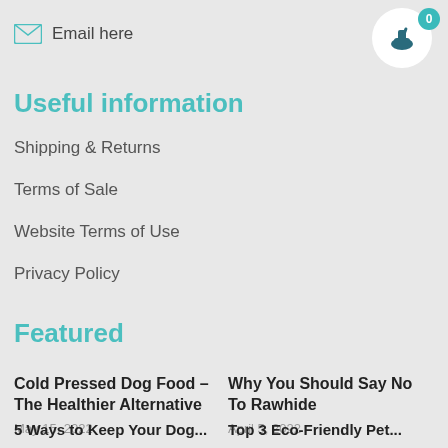Email here
Useful information
Shipping & Returns
Terms of Sale
Website Terms of Use
Privacy Policy
Featured
Cold Pressed Dog Food – The Healthier Alternative
May 15, 2022
Why You Should Say No To Rawhide
April 5, 2022
5 Ways to Keep Your Dog...
Top 3 Eco-Friendly Pet...